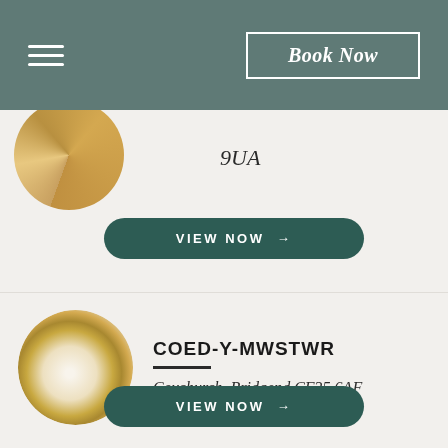Book Now
9UA
VIEW NOW →
COED-Y-MWSTWR
Coychurch, Bridgend CF35 6AF
VIEW NOW →
ST DONATS CASTLE
UWC Atlantic College, Llantwit Major